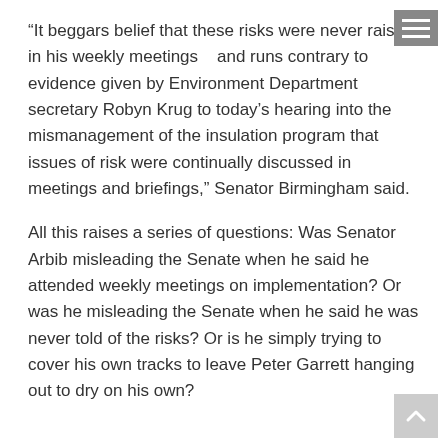“It beggars belief that these risks were never raised in his weekly meetings   and runs contrary to evidence given by Environment Department secretary Robyn Krug to today’s hearing into the mismanagement of the insulation program that issues of risk were continually discussed in meetings and briefings,” Senator Birmingham said.
All this raises a series of questions: Was Senator Arbib misleading the Senate when he said he attended weekly meetings on implementation? Or was he misleading the Senate when he said he was never told of the risks? Or is he simply trying to cover his own tracks to leave Peter Garrett hanging out to dry on his own?